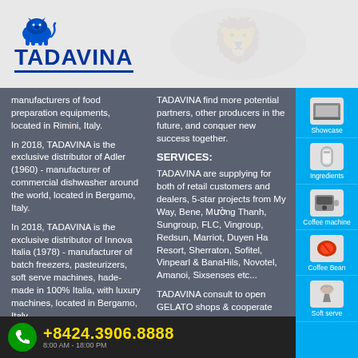[Figure (logo): TADAVINA company logo with blue lion icon and blue text]
manufacturers of food preparation equipments, located in Rimini, Italy.
In 2018, TADAVINA is the exclusive distributor of Adler (1960) - manufacturer of commercial dishwasher around the world, located in Bergamo, Italy.
In 2018, TADAVINA is the exclusive distributor of Innova Italia (1978) - manufacturer of batch freezers, pasteurizers, soft serve machines, hade-made in 100% Italia, with luxury machines, located in Bergamo, Italy.
In 2018, TADAVINA is the
TADAVINA find more potential partners, other producers in the future, and conquer new success together.
SERVICES:
TADAVINA are supplying for both of retail customers and dealers, 5-star projects from My Way, Bene, Mường Mường Thanh, Sungroup, FLC, Vingroup, Redsun, Marriot, Duyen Ha Resort, Sherraton, Sofitel, Vinpearl & BanaHils, Novotel, Amanoi, Sixsenses etc...
TADAVINA consult to open GELATO shops & cooperate with It
+8424.3906.8888
8:00 AM - 18:00 PM